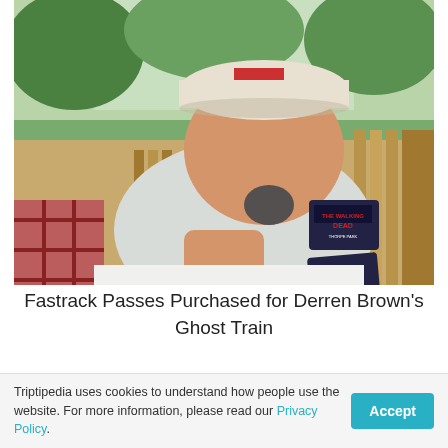[Figure (photo): A smiling man wearing a baseball cap holding up two Thorpe Park / Walking Dead Fastrack passes / tickets outdoors, with wooden fencing and trees in the background.]
Fastrack Passes Purchased for Derren Brown's Ghost Train
Buy a Digi-pass Getting a digital copy of all your
Triptipedia uses cookies to understand how people use the website. For more information, please read our Privacy Policy.